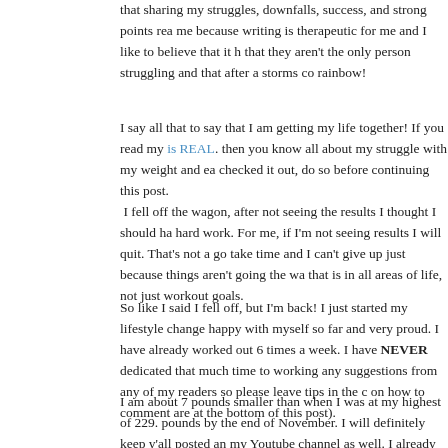that sharing my struggles, downfalls, success, and strong points rea me because writing is therapeutic for me and I like to believe that it h that they aren't the only person struggling and that after a storms co rainbow!
I say all that to say that I am getting my life together! If you read my [is REAL]. then you know all about my struggle with my weight and ea checked it out, do so before continuing this post.
I fell off the wagon, after not seeing the results I thought I should ha hard work. For me, if I'm not seeing results I will quit. That's not a go take time and I can't give up just because things aren't going the wa that is in all areas of life, not just workout goals.
So like I said I fell off, but I'm back! I just started my lifestyle change happy with myself so far and very proud. I have already worked out 6 times a week. I have NEVER dedicated that much time to working any suggestions from any of my readers so please leave tips in the c on how to comment are at the bottom of this post).
I am about 7 pounds smaller than when I was at my highest of 229. pounds by the end of November. I will definitely keep y'all posted an my Youtube channel as well. I already have 2 workout vlogs posted footage this week for my third workout vlog. (Post coming this week.